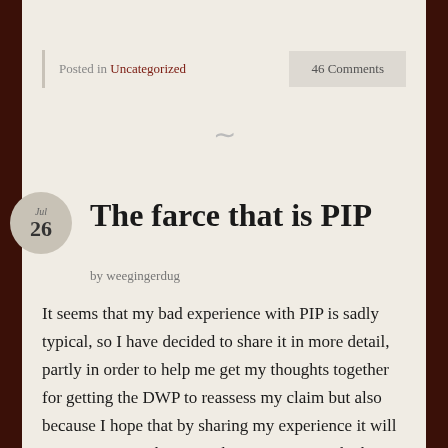Posted in Uncategorized
46 Comments
The farce that is PIP
by weegingerdug
It seems that my bad experience with PIP is sadly typical, so I have decided to share it in more detail, partly in order to help me get my thoughts together for getting the DWP to reassess my claim but also because I hope that by sharing my experience it will put pressure on the Scottish Government, which is taking over PIP in Scotland